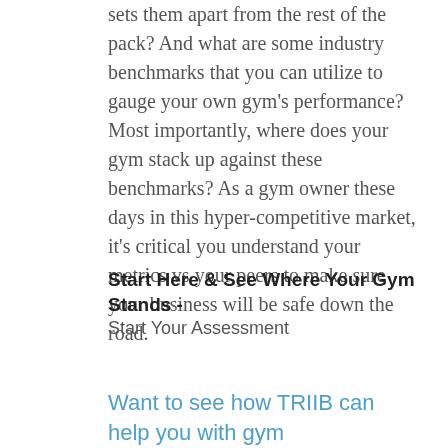sets them apart from the rest of the pack? And what are some industry benchmarks that you can utilize to gauge your own gym's performance? Most importantly, where does your gym stack up against these benchmarks? As a gym owner these days in this hyper-competitive market, it's critical you understand your metrics vs your peers to make sure your business will be safe down the road.
Start Here & See Where Your Gym Stands -
Start Your Assessment
Want to see how TRIIB can help you with gym management?